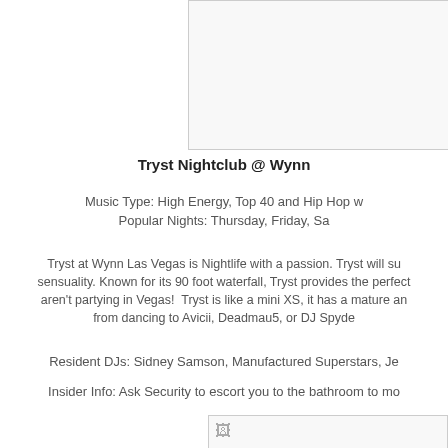[Figure (photo): Top image placeholder, partially visible, bordered box on upper right portion of page.]
Tryst Nightclub @ Wynn
Music Type: High Energy, Top 40 and Hip Hop w...
Popular Nights: Thursday, Friday, Sa...
Tryst at Wynn Las Vegas is Nightlife with a passion. Tryst will su... sensuality. Known for its 90 foot waterfall, Tryst provides the perfect... aren't partying in Vegas! Tryst is like a mini XS, it has a mature an... from dancing to Avicii, Deadmau5, or DJ Spyde...
Resident DJs: Sidney Samson, Manufactured Superstars, Je...
Insider Info: Ask Security to escort you to the bathroom to mo...
[Figure (photo): Bottom image placeholder with broken image icon, partially visible on lower right of page.]